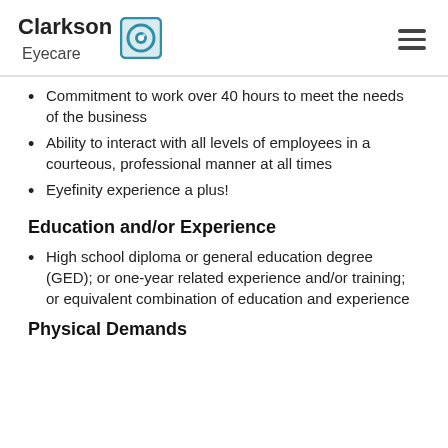Clarkson Eyecare
Commitment to work over 40 hours to meet the needs of the business
Ability to interact with all levels of employees in a courteous, professional manner at all times
Eyefinity experience a plus!
Education and/or Experience
High school diploma or general education degree (GED); or one-year related experience and/or training; or equivalent combination of education and experience
Physical Demands